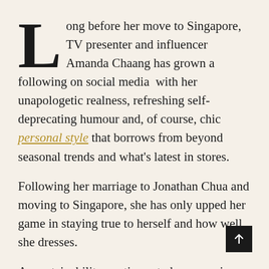Long before her move to Singapore, TV presenter and influencer Amanda Chaang has grown a following on social media with her unapologetic realness, refreshing self-deprecating humour and, of course, chic personal style that borrows from beyond seasonal trends and what's latest in stores.
Following her marriage to Jonathan Chua and moving to Singapore, she has only upped her game in staying true to herself and how well she dresses.
As sustainability continues to be a growing buzzword in fashion today, she has also taken upon herself to make more conscious fashion choices beginning with